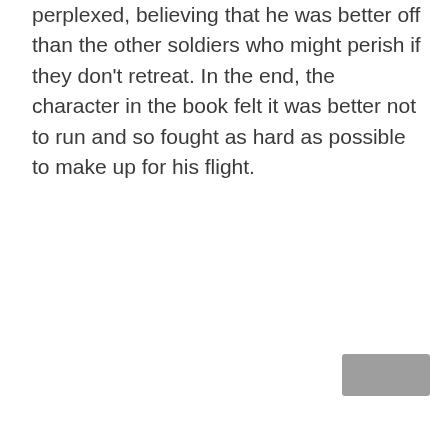perplexed, believing that he was better off than the other soldiers who might perish if they don't retreat. In the end, the character in the book felt it was better not to run and so fought as hard as possible to make up for his flight.
[Figure (other): A grey navigation button in the bottom-right corner of the page]